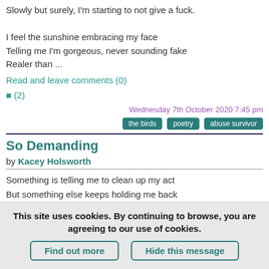Slowly but surely, I'm starting to not give a fuck.

I feel the sunshine embracing my face
Telling me I'm gorgeous, never sounding fake
Realer than ...
Read and leave comments (0)
✓ (2)
Wednesday 7th October 2020 7:45 pm
the birds   poetry   abuse survivor
So Demanding
by Kacey Holsworth
Something is telling me to clean up my act
But something else keeps holding me back
This site uses cookies. By continuing to browse, you are agreeing to our use of cookies.
Find out more   Hide this message